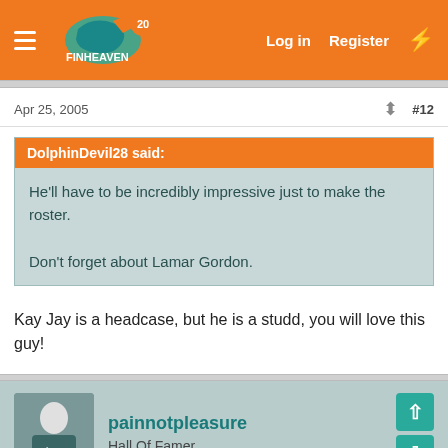FinHeaven — Log in  Register
Apr 25, 2005  #12
DolphinDevil28 said:
He'll have to be incredibly impressive just to make the roster.

Don't forget about Lamar Gordon.
Kay Jay is a headcase, but he is a studd, you will love this guy!
painnotpleasure
Hall Of Famer
Apr 25, 2005
× Close